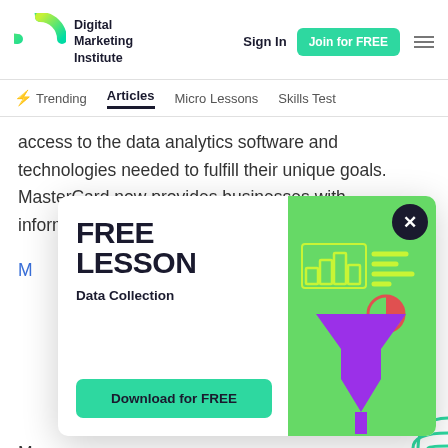Digital Marketing Institute | Sign In | Join for FREE
Trending | Articles | Micro Lessons | Skills Test
access to the data analytics software and technologies needed to fulfill their unique goals. MasterCard now provides businesses with information services known as
FREE LESSON
Data Collection
Download for FREE
M ... n ... ra ... re ... a ... to
M ... a